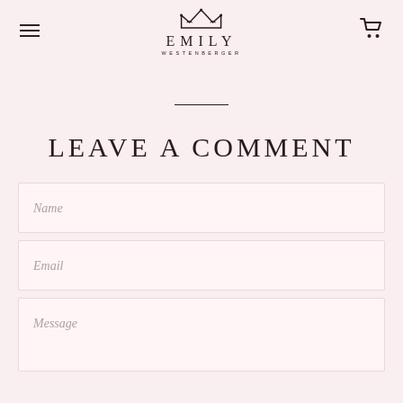Emily Westenberger – navigation header with hamburger menu, logo, and cart icon
LEAVE A COMMENT
Name
Email
Message